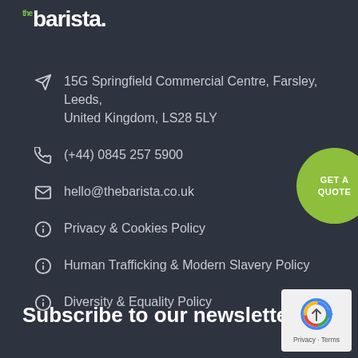[Figure (logo): The Barista logo - 'the' in small green text above 'barista.' in large white bold text]
15G Springfield Commercial Centre, Farsley, Leeds, United Kingdom, LS28 5LY
(+44) 0845 257 5900
hello@thebarista.co.uk
Privacy & Cookies Policy
Human Trafficking & Modern Slavery Policy
Diversity & Equality Policy
[Figure (other): Green circular 'GET A QUOTE' button]
Subscribe to our newsletter
[Figure (other): Google reCAPTCHA badge with Privacy and Terms links]